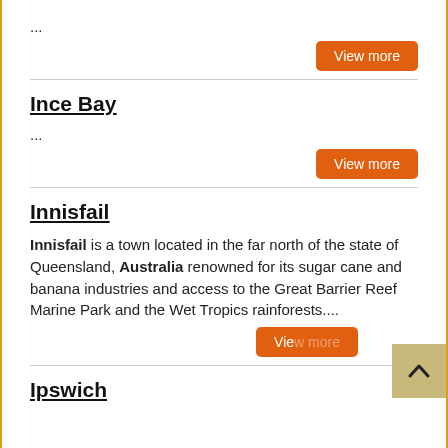...
View more
Ince Bay
...
View more
Innisfail
Innisfail is a town located in the far north of the state of Queensland, Australia renowned for its sugar cane and banana industries and access to the Great Barrier Reef Marine Park and the Wet Tropics rainforests....
View more
Ipswich